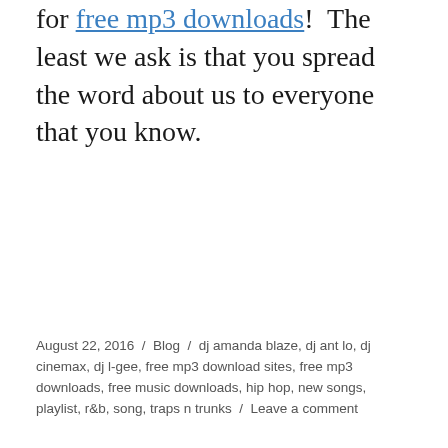for free mp3 downloads!  The least we ask is that you spread the word about us to everyone that you know.
August 22, 2016 / Blog / dj amanda blaze, dj ant lo, dj cinemax, dj l-gee, free mp3 download sites, free mp3 downloads, free music downloads, hip hop, new songs, playlist, r&b, song, traps n trunks / Leave a comment